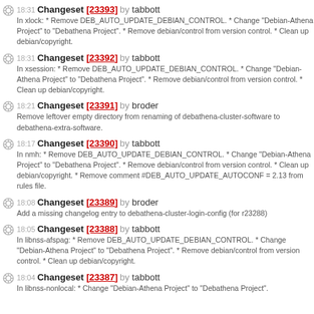18:31 Changeset [23393] by tabbott
In xlock: * Remove DEB_AUTO_UPDATE_DEBIAN_CONTROL. * Change "Debian-Athena Project" to "Debathena Project". * Remove debian/control from version control. * Clean up debian/copyright.
18:31 Changeset [23392] by tabbott
In xsession: * Remove DEB_AUTO_UPDATE_DEBIAN_CONTROL. * Change "Debian-Athena Project" to "Debathena Project". * Remove debian/control from version control. * Clean up debian/copyright.
18:21 Changeset [23391] by broder
Remove leftover empty directory from renaming of debathena-cluster-software to debathena-extra-software.
18:17 Changeset [23390] by tabbott
In nmh: * Remove DEB_AUTO_UPDATE_DEBIAN_CONTROL. * Change "Debian-Athena Project" to "Debathena Project". * Remove debian/control from version control. * Clean up debian/copyright. * Remove comment #DEB_AUTO_UPDATE_AUTOCONF = 2.13 from rules file.
18:08 Changeset [23389] by broder
Add a missing changelog entry to debathena-cluster-login-config (for r23288)
18:05 Changeset [23388] by tabbott
In libnss-afspag: * Remove DEB_AUTO_UPDATE_DEBIAN_CONTROL. * Change "Debian-Athena Project" to "Debathena Project". * Remove debian/control from version control. * Clean up debian/copyright.
18:04 Changeset [23387] by tabbott
In libnss-nonlocal: * Change "Debian-Athena Project" to "Debathena Project".